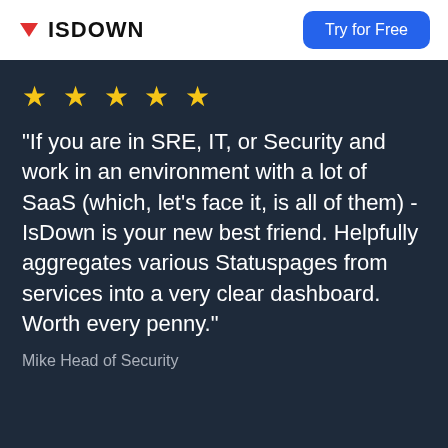ISDOWN | Try for Free
★ ★ ★ ★ ★
"If you are in SRE, IT, or Security and work in an environment with a lot of SaaS (which, let's face it, is all of them) - IsDown is your new best friend. Helpfully aggregates various Statuspages from services into a very clear dashboard. Worth every penny."
Mike Head of Security